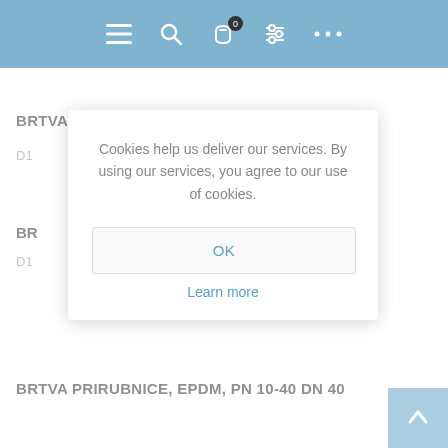[Figure (screenshot): Blue navigation bar with hamburger menu, search, cart (badge 0), filter, and more icons]
BRTVA PRIRUBNICE, EPDM, PN 10-40 DN 25
D1…
BR…
D1…
[Figure (screenshot): Cookie consent modal dialog with text: Cookies help us deliver our services. By using our services, you agree to our use of cookies. OK button and Learn more link.]
BRTVA PRIRUBNICE, EPDM, PN 10-40 DN 40